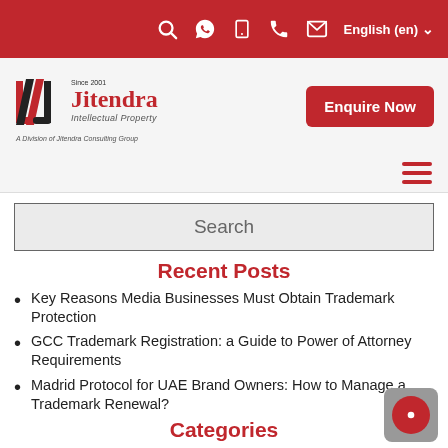Search icon, WhatsApp icon, Phone icon, Call icon, Email icon, English (en)
[Figure (logo): Jitendra Intellectual Property logo with text 'Since 2001', 'Jitendra', 'Intellectual Property', 'A Division of Jitendra Consulting Group']
Enquire Now
Search
Recent Posts
Key Reasons Media Businesses Must Obtain Trademark Protection
GCC Trademark Registration: a Guide to Power of Attorney Requirements
Madrid Protocol for UAE Brand Owners: How to Manage a Trademark Renewal?
Categories